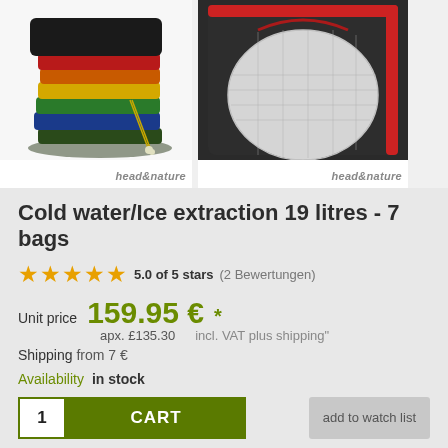[Figure (photo): Stack of colorful fabric extraction bags (black, red, orange, yellow, green, blue, dark green) with drawstrings, branded head&nature]
[Figure (photo): Close-up of a black and red extraction bag opened to show inner mesh bag, branded head&nature]
Cold water/Ice extraction 19 litres - 7 bags
5.0 of 5 stars (2 Bewertungen)
Unit price  159.95 € *
apx. £135.30     incl. VAT plus shipping"
Shipping from 7 €
Availability in stock
1  CART   add to watch list
There are 0 of this product in your cart.